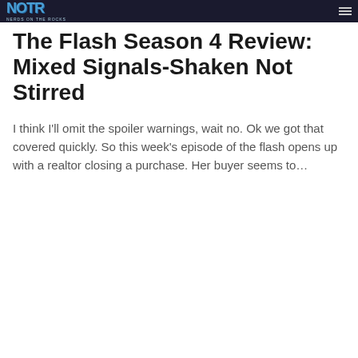NOTR NERDS ON THE ROCKS
The Flash Season 4 Review: Mixed Signals-Shaken Not Stirred
I think I'll omit the spoiler warnings, wait no. Ok we got that covered quickly. So this week's episode of the flash opens up with a realtor closing a purchase. Her buyer seems to…